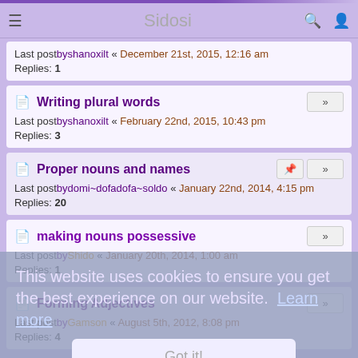Sidosi
Last postby shanoxilt « December 21st, 2015, 12:16 am
Replies: 1
Writing plural words
Last postby shanoxilt « February 22nd, 2015, 10:43 pm
Replies: 3
Proper nouns and names
Last postby domi~dofadofa~soldo « January 22nd, 2014, 4:15 pm
Replies: 20
making nouns possessive
Last postby Shido « January 20th, 2014, 1:00 am
Replies: 1
Forming Adjectives
Last postby Gamson « August 5th, 2012, 8:08 pm
Replies: 4
This website uses cookies to ensure you get the best experience on our website. Learn more
Got it!